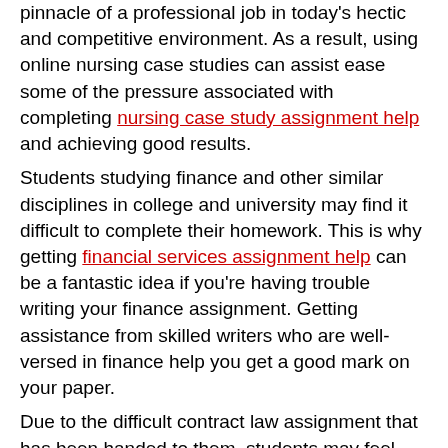pinnacle of a professional job in today's hectic and competitive environment. As a result, using online nursing case studies can assist ease some of the pressure associated with completing nursing case study assignment help and achieving good results.
Students studying finance and other similar disciplines in college and university may find it difficult to complete their homework. This is why getting financial services assignment help can be a fantastic idea if you're having trouble writing your finance assignment. Getting assistance from skilled writers who are well-versed in finance help you get a good mark on your paper.
Due to the difficult contract law assignment that has been handed to them, students may feel overwhelmed. Students are expected to present much of the evidence in contract law papers, thus they seek contract law assignment